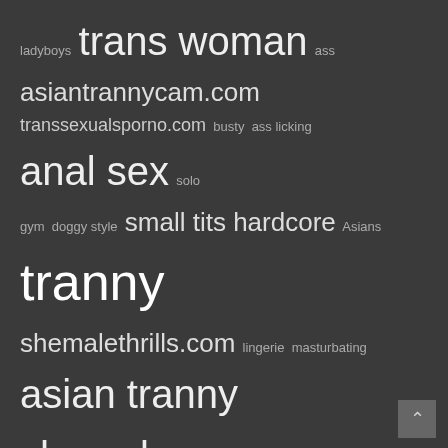ladyboys trans woman ass asiantrannycam.com transsexualsporno.com busty ass licking anal sex solo gym doggy style small tits hardcore Asians tranny shemalethrills.com lingerie masturbating asian tranny shemale sexy ass blowjob cock riding Sandy webcam schoolgirl uniform ladyboy transsexuals big cock trans women
FREE CAM SEX
AuraHuff August 21, 2022
Super sexy babe and best wank in ages. Unbelievable dirty talk as well...
Serene Siren August 20, 2022
Siren was born on May 30, 1989, in the United States. She began her career as an adult performer in 2013 and currently